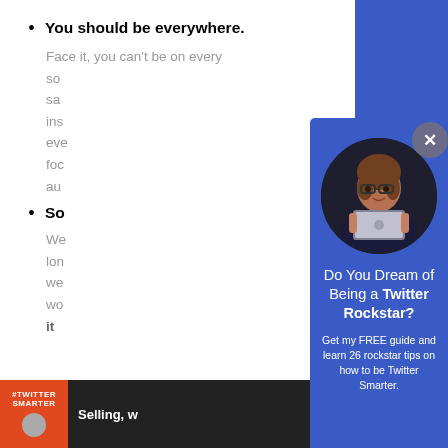You should be everywhere.
Face it, you can't be on every social media platform at the same time, posting the same insightful content everywhere, every day. You need to focus on where your audience is.
So...
We all know that it takes a long time to build a following, we need to choose wisely, would...
[Figure (photo): Blue popup overlay showing a woman holding a MacBook laptop, with circular cropped photo, and text 'Do You Dream of Being a Twitter Rockstar?' with subtitle 'Get my FREE guide and learn 26 rockstar tips on how to be Twitter Smarter.']
Selling, w...
#TWITTER SMARTER — Selling, w